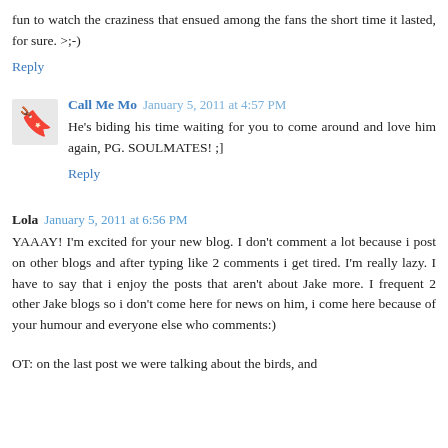fun to watch the craziness that ensued among the fans the short time it lasted, for sure. >;-)
Reply
Call Me Mo  January 5, 2011 at 4:57 PM
He's biding his time waiting for you to come around and love him again, PG. SOULMATES! ;]
Reply
Lola  January 5, 2011 at 6:56 PM
YAAAY! I'm excited for your new blog. I don't comment a lot because i post on other blogs and after typing like 2 comments i get tired. I'm really lazy. I have to say that i enjoy the posts that aren't about Jake more. I frequent 2 other Jake blogs so i don't come here for news on him, i come here because of your humour and everyone else who comments:)
OT: on the last post we were talking about the birds, and